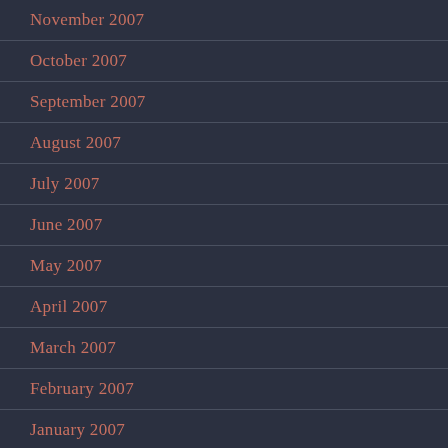November 2007
October 2007
September 2007
August 2007
July 2007
June 2007
May 2007
April 2007
March 2007
February 2007
January 2007
December 2006